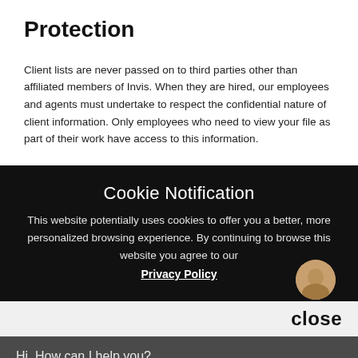Protection
Client lists are never passed on to third parties other than affiliated members of Invis. When they are hired, our employees and agents must undertake to respect the confidential nature of client information. Only employees who need to view your file as part of their work have access to this information.
Cookie Notification
This website potentially uses cookies to offer you a better, more personalized browsing experience. By continuing to browse this website you agree to our Privacy Policy
close
Hi, How can I help you?